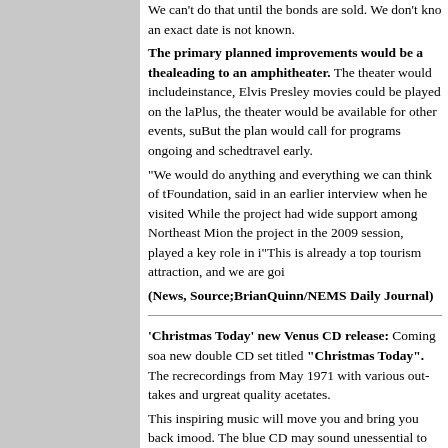We can't do that until the bonds are sold. We don't know when, an exact date is not known. The primary planned improvements would be a theater leading to an amphitheater. The theater would include, for instance, Elvis Presley movies could be played on the large screen. Plus, the theater would be available for other events, such as concerts. But the plan would call for programs ongoing and scheduled to get people to travel early. "We would do anything and everything we can think of to..." said the Foundation, said in an earlier interview when he visited town. While the project had wide support among Northeast Mississippi, on the project in the 2009 session, played a key role in it. "This is already a top tourism attraction, and we are going... (News, Source;BrianQuinn/NEMS Daily Journal)
'Christmas Today' new Venus CD release: Coming soon is a new double CD set titled "Christmas Today". The recordings from May 1971 with various out-takes and unreleased great quality acetates. This inspiring music will move you and bring you back in mood. The blue CD may sound unessential to most of you but will become one your favorite CDs straight away. The recording sessions for the album Elvis Today took place on Sunset Boulevard, and Elvis was really up for it and his enthusiasm heard throughout the sessions. Besides the great sound quality of both CDs, the blu... unheard highlights. By example the master take of 'Fa...' runs seconds longer and 'Susan When She Tried' also runs a different ending, plus there are several bits and pieces that will make you more than you think.